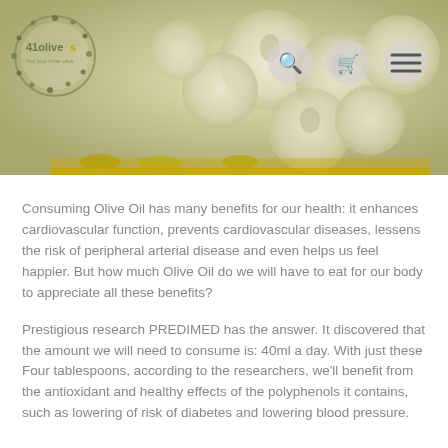[Figure (screenshot): Website header banner for '41olives' with olives/garlic image and navigation icons (search, cart, menu)]
Consuming Olive Oil has many benefits for our health: it enhances cardiovascular function, prevents cardiovascular diseases, lessens the risk of peripheral arterial disease and even helps us feel happier. But how much Olive Oil do we will have to eat for our body to appreciate all these benefits?
Prestigious research PREDIMED has the answer. It discovered that the amount we will need to consume is: 40ml a day. With just these Four tablespoons, according to the researchers, we'll benefit from the antioxidant and healthy effects of the polyphenols it contains, such as lowering of risk of diabetes and lowering blood pressure.